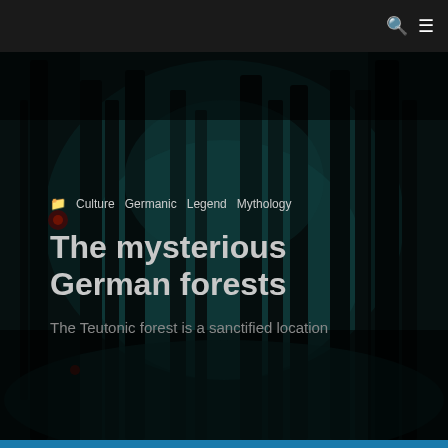[Figure (photo): Dark mysterious forest with teal/blue-green tones, tall dark tree trunks, dimly lit, used as a hero background image]
Culture  Germanic  Legend  Mythology
The mysterious German forests
The Teutonic forest is a sanctified location